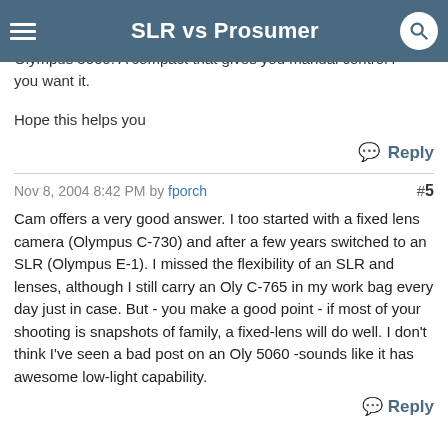SLR vs Prosumer
Sony compact P150 - I would avoid it like in plague. but personal experience is to possibly recommend the Olympus 5060. A compact that gives you manual control if you want it.
Hope this helps you
Reply
Nov 8, 2004 8:42 PM by fporch  #5
Cam offers a very good answer. I too started with a fixed lens camera (Olympus C-730) and after a few years switched to an SLR (Olympus E-1). I missed the flexibility of an SLR and lenses, although I still carry an Oly C-765 in my work bag every day just in case. But - you make a good point - if most of your shooting is snapshots of family, a fixed-lens will do well. I don't think I've seen a bad post on an Oly 5060 -sounds like it has awesome low-light capability.
Reply